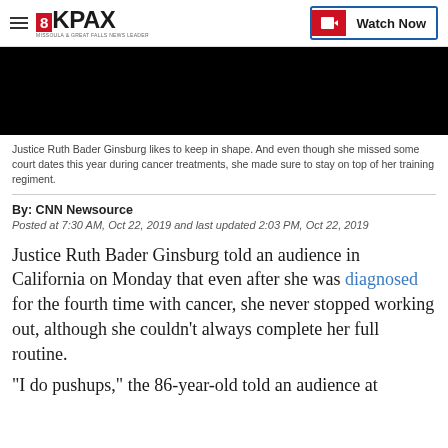8KPAX | Watch Now
[Figure (photo): Black/dark video thumbnail area]
Justice Ruth Bader Ginsburg likes to keep in shape. And even though she missed some court dates this year during cancer treatments, she made sure to stay on top of her training regiment.
By: CNN Newsource
Posted at 7:30 AM, Oct 22, 2019 and last updated 2:03 PM, Oct 22, 2019
Justice Ruth Bader Ginsburg told an audience in California on Monday that even after she was diagnosed for the fourth time with cancer, she never stopped working out, although she couldn't always complete her full routine.
"I do pushups," the 86-year-old told an audience at